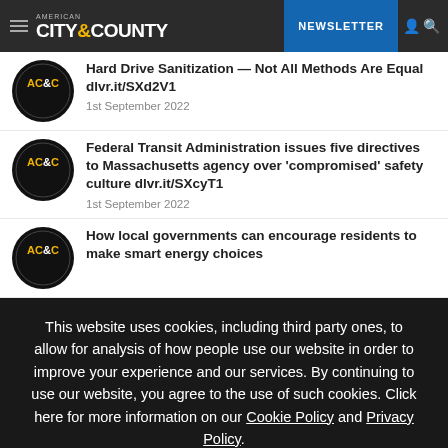AMERICAN CITY & COUNTY | NEWSLETTER
Hard Drive Sanitization — Not All Methods Are Equal dlvr.it/SXd2V1
1st September 2022
Federal Transit Administration issues five directives to Massachusetts agency over 'compromised' safety culture dlvr.it/SXcyT1
1st September 2022
How local governments can encourage residents to make smart energy choices
This website uses cookies, including third party ones, to allow for analysis of how people use our website in order to improve your experience and our services. By continuing to use our website, you agree to the use of such cookies. Click here for more information on our Cookie Policy and Privacy Policy.
Accept and Close ✕
Your browser settings do not allow cross-site tracking for advertising. Click on this page to allow AdRoll to use cross-site tracking to tailor ads to you. Learn more or opt out of this AdRoll tracking by clicking here. This message only appears once.